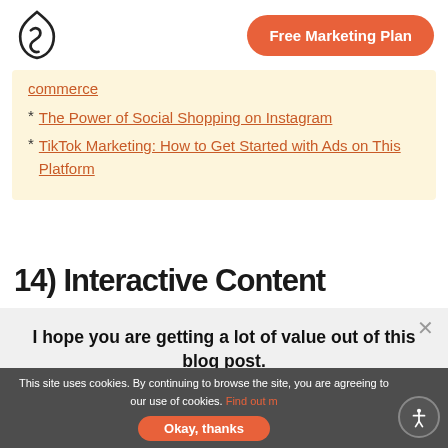Free Marketing Plan
commerce
The Power of Social Shopping on Instagram
TikTok Marketing: How to Get Started with Ads on This Platform
14) Interactive Content
I hope you are getting a lot of value out of this blog post.
Do you want to learn more about this topic? Schedule a Free Consultation call with a Single Grain Expert now!
This site uses cookies. By continuing to browse the site, you are agreeing to our use of cookies. Find out m... Okay, thanks